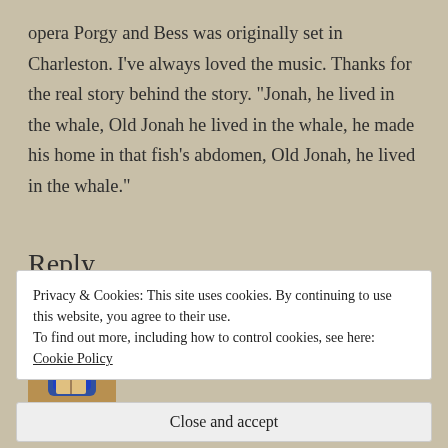opera Porgy and Bess was originally set in Charleston. I've always loved the music. Thanks for the real story behind the story. “Jonah, he lived in the whale, Old Jonah he lived in the whale, he made his home in that fish’s abdomen, Old Jonah, he lived in the whale.”
Reply
KATESHREWSDAY
SEPTEMBER 7, 2014 AT 6:11 AM
Privacy & Cookies: This site uses cookies. By continuing to use this website, you agree to their use.
To find out more, including how to control cookies, see here: Cookie Policy
Close and accept